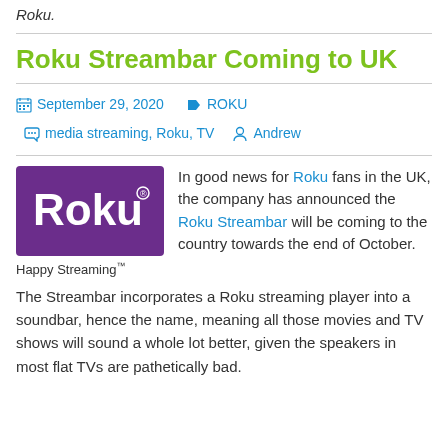Roku.
Roku Streambar Coming to UK
September 29, 2020   ROKU   media streaming, Roku, TV   Andrew
[Figure (logo): Roku logo on purple background with 'Happy Streaming' tagline below]
In good news for Roku fans in the UK, the company has announced the Roku Streambar will be coming to the country towards the end of October. The Streambar incorporates a Roku streaming player into a soundbar, hence the name, meaning all those movies and TV shows will sound a whole lot better, given the speakers in most flat TVs are pathetically bad.